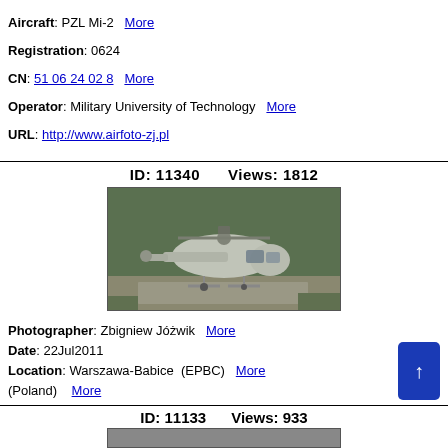Aircraft: PZL Mi-2  More
Registration: 0624
CN: 51 06 24 02 8  More
Operator: Military University of Technology  More
URL: http://www.airfoto-zj.pl
ID: 11340    Views: 1812
[Figure (photo): Photograph of a PZL Mi-2 helicopter, gray/silver, parked on a concrete pad, with trees in background. Warszawa-Babice, Poland, 22Jul2011.]
Photographer: Zbigniew Jóżwik  More
Date: 22Jul2011
Location: Warszawa-Babice  (EPBC)  More
(Poland)  More
Aircraft: PZL Mi-2  More
Registration: 0624
CN: 51 06 24 02 8  More
Operator: Military University of Technology  More
URL: http://www.airfoto-zj.pl
ID: 11133    Views: 933